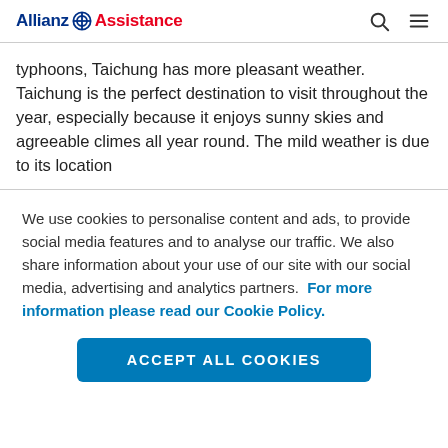Allianz Assistance
typhoons, Taichung has more pleasant weather. Taichung is the perfect destination to visit throughout the year, especially because it enjoys sunny skies and agreeable climes all year round. The mild weather is due to its location in…
We use cookies to personalise content and ads, to provide social media features and to analyse our traffic. We also share information about your use of our site with our social media, advertising and analytics partners.  For more information please read our Cookie Policy.
ACCEPT ALL COOKIES